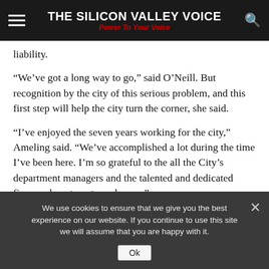THE SILICON VALLEY VOICE — Power To Your Voice
liability.
“We’ve got a long way to go,” said O’Neill. But recognition by the city of this serious problem, and this first step will help the city turn the corner, she said.
“I’ve enjoyed the seven years working for the city,” Ameling said. “We’ve accomplished a lot during the time I’ve been here. I’m so grateful to the all the City’s department managers and the talented and dedicated finance department employees.”
Ameling grew up in North Branford Conn., a small town outside New Haven, and got his BS and MBA from Northern Arizona
We use cookies to ensure that we give you the best experience on our website. If you continue to use this site we will assume that you are happy with it.